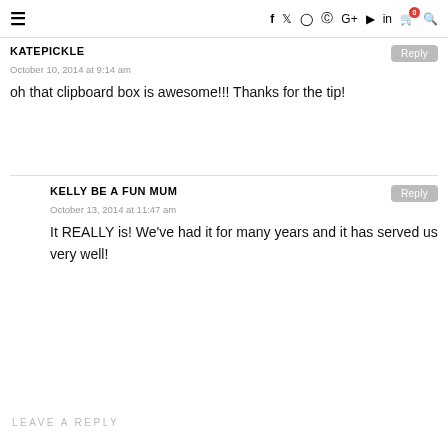≡  f  𝕏  ⊙  ⊕  G+  ▶  in  🛒0  🔍
KATEPICKLE
October 10, 2014 at 9:14 am
oh that clipboard box is awesome!!! Thanks for the tip!
KELLY BE A FUN MUM
October 13, 2014 at 11:47 am
It REALLY is! We've had it for many years and it has served us very well!
LEAVE A REPLY